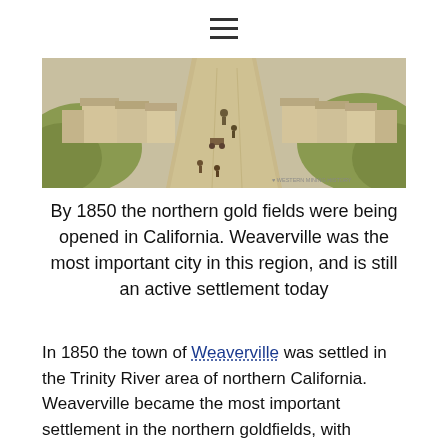[Figure (illustration): Bird's-eye view illustration of an early Western town with a wide dirt main street, horses, wagons, buildings on either side, and surrounding hills. Watermark reads 'Western Mining History'.]
By 1850 the northern gold fields were being opened in California. Weaverville was the most important city in this region, and is still an active settlement today
In 1850 the town of Weaverville was settled in the Trinity River area of northern California. Weaverville became the most important settlement in the northern goldfields, with